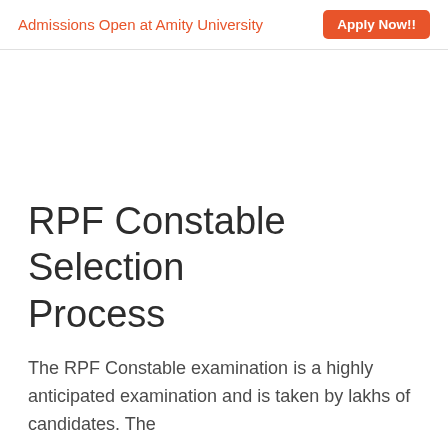Admissions Open at Amity University  Apply Now!!
RPF Constable Selection Process
The RPF Constable examination is a highly anticipated examination and is taken by lakhs of candidates. The